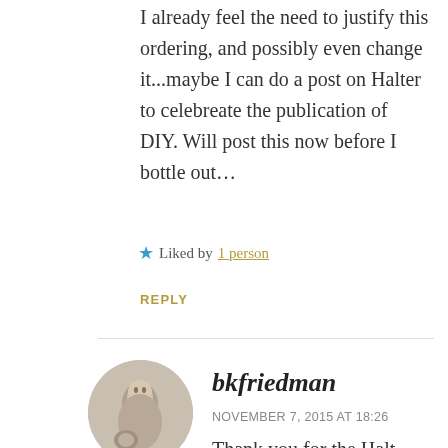I already feel the need to justify this ordering, and possibly even change it...maybe I can do a post on Halter to celebreate the publication of DIY. Will post this now before I bottle out...
★ Liked by 1 person
REPLY
[Figure (photo): Circular avatar photo of bkfriedman showing a young child holding a stuffed animal, in black and white/sepia tone]
bkfriedman
NOVEMBER 7, 2015 AT 18:26
Thank you for the Halt...